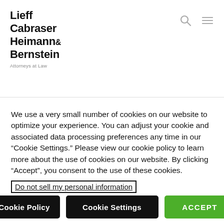[Figure (logo): Lieff Cabraser Heimann & Bernstein, Attorneys at Law law firm logo with search and menu icons]
the University of Southern California over decades of alleged sexual abuse by former campus gynecologist George Tyndall reflects this
We use a very small number of cookies on our website to optimize your experience. You can adjust your cookie and associated data processing preferences any time in our “Cookie Settings.” Please view our cookie policy to learn more about the use of cookies on our website. By clicking “Accept”, you consent to the use of these cookies.
Do not sell my personal information
Cookie Policy  Cookie Settings  ACCEPT